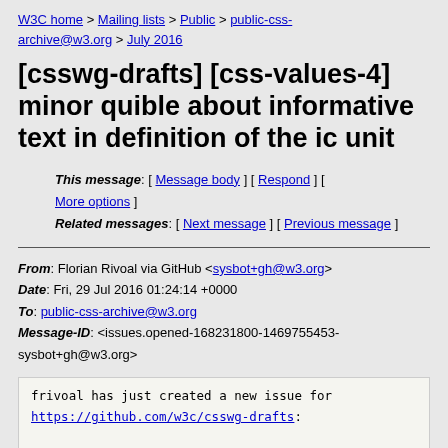W3C home > Mailing lists > Public > public-css-archive@w3.org > July 2016
[csswg-drafts] [css-values-4] minor quible about informative text in definition of the ic unit
This message: [ Message body ] [ Respond ] [ More options ]
Related messages: [ Next message ] [ Previous message ]
From: Florian Rivoal via GitHub <sysbot+gh@w3.org>
Date: Fri, 29 Jul 2016 01:24:14 +0000
To: public-css-archive@w3.org
Message-ID: <issues.opened-168231800-1469755453-sysbot+gh@w3.org>
frivoal has just created a new issue for https://github.com/w3c/csswg-drafts:

== [css-values-4] minor quible about informative